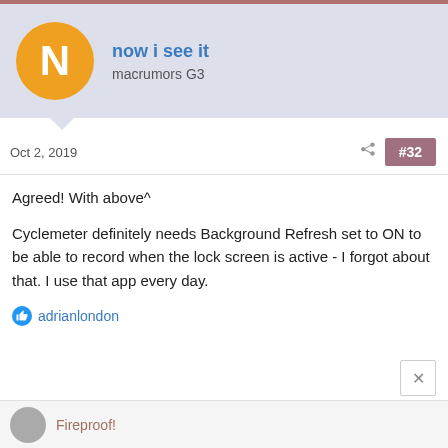now i see it — macrumors G3
Oct 2, 2019   #32
Agreed! With above^
Cyclemeter definitely needs Background Refresh set to ON to be able to record when the lock screen is active - I forgot about that. I use that app every day.
adrianlondon
Fireproof!